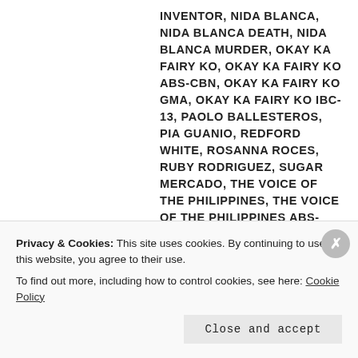INVENTOR, NIDA BLANCA, NIDA BLANCA DEATH, NIDA BLANCA MURDER, OKAY KA FAIRY KO, OKAY KA FAIRY KO ABS-CBN, OKAY KA FAIRY KO GMA, OKAY KA FAIRY KO IBC-13, PAOLO BALLESTEROS, PIA GUANIO, REDFORD WHITE, ROSANNA ROCES, RUBY RODRIGUEZ, SUGAR MERCADO, THE VOICE OF THE PHILIPPINES, THE VOICE OF THE PHILIPPINES ABS-CBN, THE VOICE OF THE PHILIPPINES SEASON 1, TIDE DETERGENT, TIDE TOLITS, TITO SOTTO, TITO VIC AND JOEY, TVJ, TWEETIE DE LEON, VIC SOTTO, VIC SOTTO FILMOGRAPHY, VIC SOTTO SITCOMS | 3 COMMENTS
Privacy & Cookies: This site uses cookies. By continuing to use this website, you agree to their use.
To find out more, including how to control cookies, see here: Cookie Policy
Close and accept